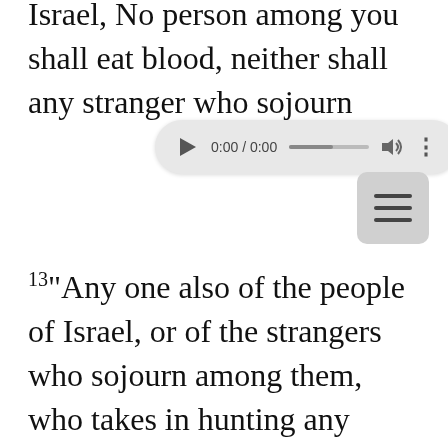Israel, No person among you shall eat blood, neither shall any stranger who sojourn...
[Figure (screenshot): Audio player UI element showing 0:00 / 0:00 time, progress bar, volume icon, and options dots]
[Figure (other): Hamburger menu button (three horizontal lines) in a rounded rectangle]
13 "Any one also of the people of Israel, or of the strangers who sojourn among them, who takes in hunting any beast or bird that may be eaten shall pour out its blood and cover it with earth. 14 For the life of every creature is its blood: its blood is its life. Therefore I have said to the people of Israel, You shall not eat the blood of any creature, for the life of